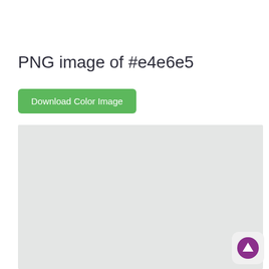PNG image of #e4e6e5
Download Color Image
[Figure (other): A solid color rectangle filled with #e4e6e5 (light gray)]
[Figure (other): Scroll-to-top button with purple upward arrow icon]